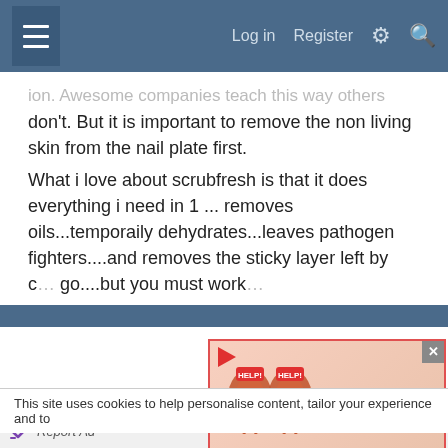Log in  Register
don't. But it is important to remove the non living skin from the nail plate first.
What i love about scrubfresh is that it does everything i need in 1 ... removes oils...temporaily dehydrates...leaves pathogen fighters....and removes the sticky layer left by c...go....but you must work...
[Figure (screenshot): Kidney Stones symptoms ad overlay with cartoon kidneys holding HELP signs and a person with back pain]
This site uses cookies to help personalise content, tailor your experience and to
[Figure (infographic): Lidl advertisement: Suspiciously Low Prices with Lidl logo and blue arrow]